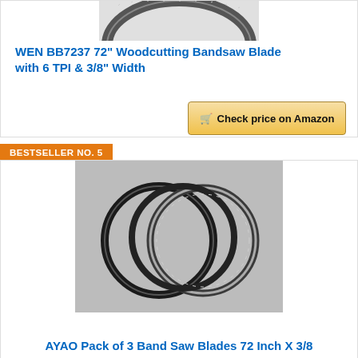[Figure (photo): Partial image of a bandsaw blade coiled, cropped at top of page]
WEN BB7237 72" Woodcutting Bandsaw Blade with 6 TPI & 3/8" Width
Check price on Amazon
BESTSELLER NO. 5
[Figure (photo): Three coiled band saw blades on a light gray background]
AYAO Pack of 3 Band Saw Blades 72 Inch X 3/8